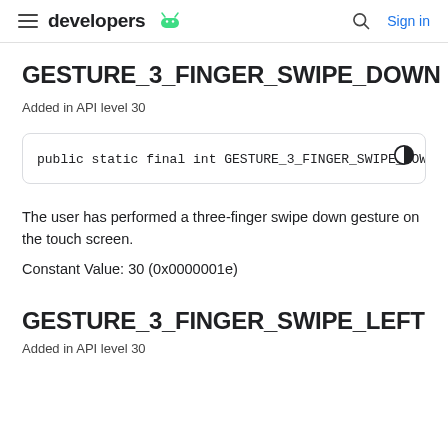developers  [Android logo]  [Search icon]  Sign in
GESTURE_3_FINGER_SWIPE_DOWN
Added in API level 30
public static final int GESTURE_3_FINGER_SWIPE_DOWN
The user has performed a three-finger swipe down gesture on the touch screen.
Constant Value: 30 (0x0000001e)
GESTURE_3_FINGER_SWIPE_LEFT
Added in API level 30